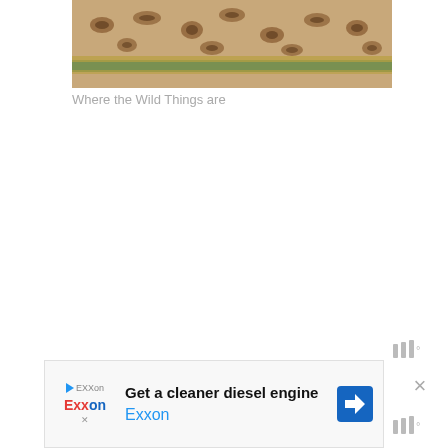[Figure (photo): Partial photo of a book spine/cover with leopard print pattern and green/gold metallic trim visible at top of page]
Where the Wild Things are
Another masterpiece I cannot hope to
[Figure (other): Weather widget icon showing bars and degree symbol]
[Figure (other): Advertisement banner: Get a cleaner diesel engine - Exxon]
[Figure (other): Close button X and weather widget icon]